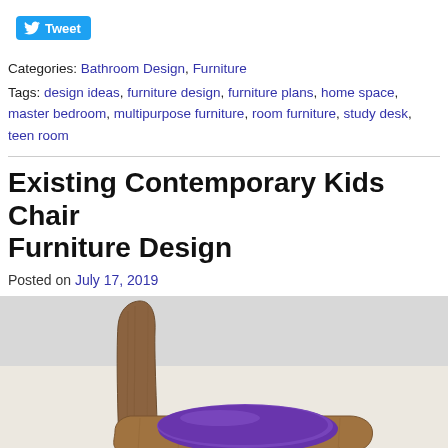[Figure (other): Twitter Tweet button with bird icon]
Categories: Bathroom Design, Furniture
Tags: design ideas, furniture design, furniture plans, home space, master bedroom, multipurpose furniture, room furniture, study desk, teen room
Existing Contemporary Kids Chair Furniture Design
Posted on July 17, 2019
[Figure (photo): Photo of a contemporary kids chair made of wood with a round purple seat cushion, viewed from a side-front angle against a light grey background]